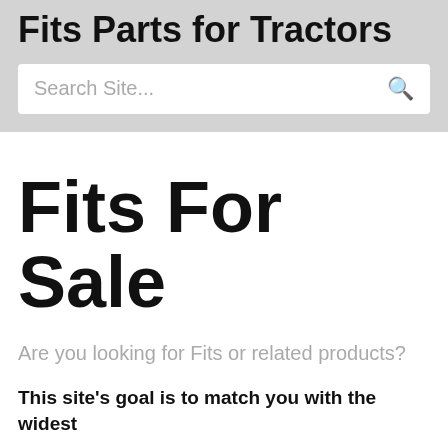Fits Parts for Tractors
Search Site...
Fits For Sale
Are you looking for Fits or related products?
This site's goal is to match you with the widest